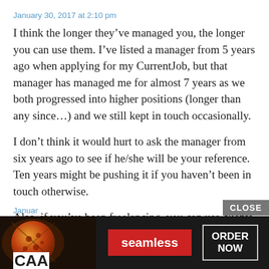January 30, 2017 at 2:10 pm
I think the longer they’ve managed you, the longer you can use them. I’ve listed a manager from 5 years ago when applying for my CurrentJob, but that manager has managed me for almost 7 years as we both progressed into higher positions (longer than any since…) and we still kept in touch occasionally.
I don’t think it would hurt to ask the manager from six years ago to see if he/she will be your reference. Ten years might be pushing it if you haven’t been in touch otherwise.
Also, if you’ve been freelancing, you can use clients as a reference too.
[Figure (screenshot): Advertisement banner for Seamless food delivery service showing pizza image on left, Seamless red logo button in center, and ORDER NOW button on right, with a CLOSE button at top right. Partial text 'CAA' visible at bottom left and 'Januar' text in blue below it.]